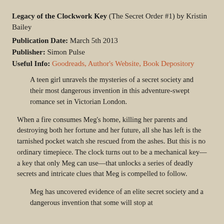Legacy of the Clockwork Key (The Secret Order #1) by Kristin Bailey
Publication Date: March 5th 2013
Publisher: Simon Pulse
Useful Info: Goodreads, Author's Website, Book Depository
A teen girl unravels the mysteries of a secret society and their most dangerous invention in this adventure-swept romance set in Victorian London.
When a fire consumes Meg’s home, killing her parents and destroying both her fortune and her future, all she has left is the tarnished pocket watch she rescued from the ashes. But this is no ordinary timepiece. The clock turns out to be a mechanical key—a key that only Meg can use—that unlocks a series of deadly secrets and intricate clues that Meg is compelled to follow.
Meg has uncovered evidence of an elite secret society and a dangerous invention that some will stop at